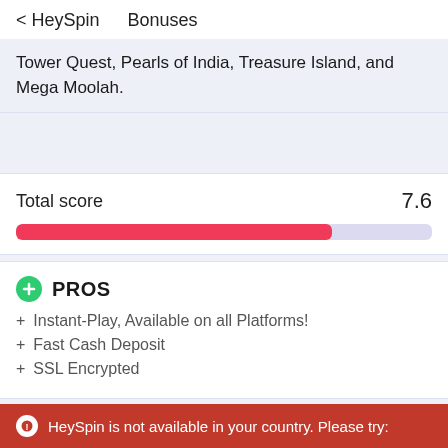< HeySpin    Bonuses
Tower Quest, Pearls of India, Treasure Island, and Mega Moolah.
Total score  7.6
PROS
+ Instant-Play, Available on all Platforms!
+ Fast Cash Deposit
+ SSL Encrypted
Quick casino facts
HeySpin is not available in your country. Please try: